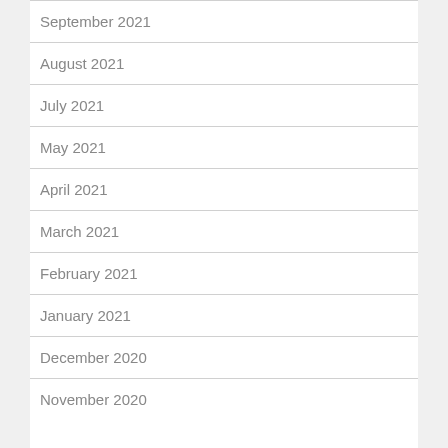September 2021
August 2021
July 2021
May 2021
April 2021
March 2021
February 2021
January 2021
December 2020
November 2020